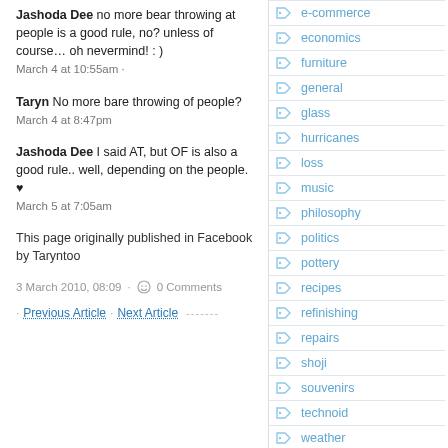Jashoda Dee no more bear throwing at people is a good rule, no? unless of course… oh nevermind! : )
March 4 at 10:55am ·
Taryn No more bare throwing of people?
March 4 at 8:47pm
Jashoda Dee I said AT, but OF is also a good rule.. well, depending on the people. ♥
March 5 at 7:05am
This page originally published in Facebook by Taryntoo
3 March 2010, 08:09 · 0 Comments
· Previous Article · Next Article
e-commerce
economics
furniture
general
glass
hurricanes
loss
music
philosophy
politics
pottery
recipes
refinishing
repairs
shoji
souvenirs
technoid
weather